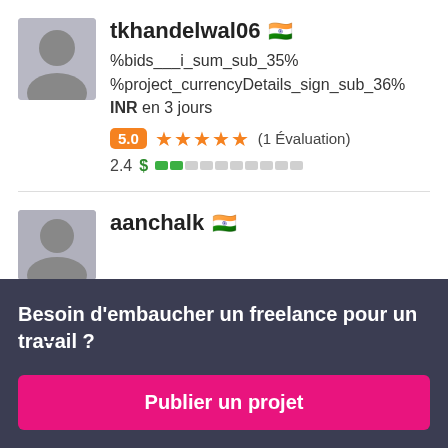tkhandelwal06 🇮🇳
%bids___i_sum_sub_35%
%project_currencyDetails_sign_sub_36%
INR en 3 jours
5.0 ★★★★★ (1 Évaluation)
2.4 $ [score bar]
aanchalk 🇮🇳
Besoin d'embaucher un freelance pour un travail ?
Publier un projet